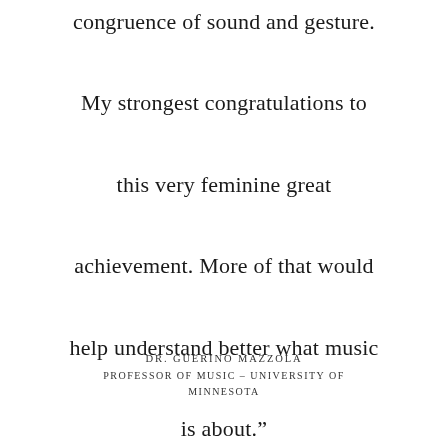congruence of sound and gesture. My strongest congratulations to this very feminine great achievement. More of that would help understand better what music is about.”
DR. GUERINO MAZZOLA
PROFESSOR OF MUSIC – UNIVERSITY OF MINNESOTA